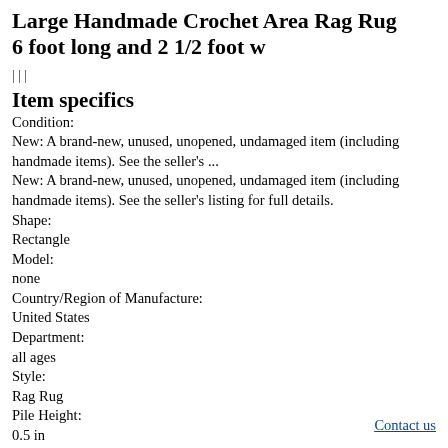Large Handmade Crochet Area Rag Rug 6 foot long and 2 1/2 foot w
|||
Item specifics
Condition:
New: A brand-new, unused, unopened, undamaged item (including handmade items). See the seller's ...
New: A brand-new, unused, unopened, undamaged item (including handmade items). See the seller's listing for full details.
Shape:
Rectangle
Model:
none
Country/Region of Manufacture:
United States
Department:
all ages
Style:
Rag Rug
Pile Height:
0.5 in
Contact us